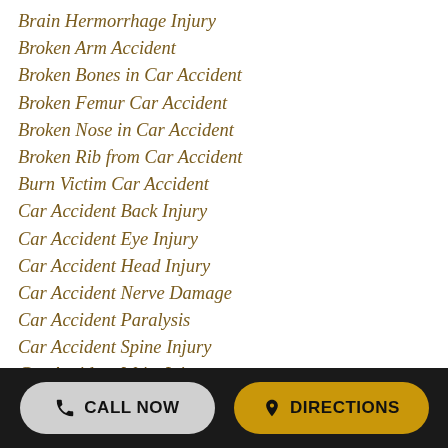Brain Hermorrhage Injury
Broken Arm Accident
Broken Bones in Car Accident
Broken Femur Car Accident
Broken Nose in Car Accident
Broken Rib from Car Accident
Burn Victim Car Accident
Car Accident Back Injury
Car Accident Eye Injury
Car Accident Head Injury
Car Accident Nerve Damage
Car Accident Paralysis
Car Accident Spine Injury
Car Accident Wrist Injury
Catastrophic Injury
Cervical Spine Injury
Chest Injury
Chronic Neck Injury After Car Accident
Chronic Pain After Accident
CALL NOW   DIRECTIONS